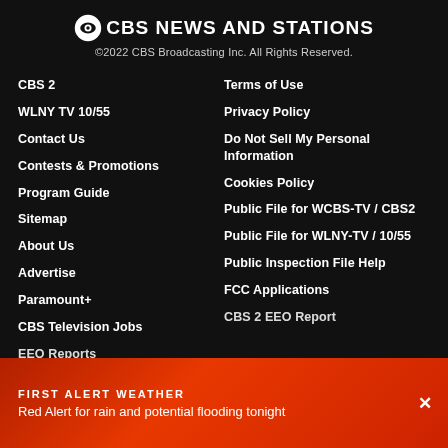CBS NEWS AND STATIONS
©2022 CBS Broadcasting Inc. All Rights Reserved.
CBS 2
WLNY TV 10/55
Contact Us
Contests & Promotions
Program Guide
Sitemap
About Us
Advertise
Paramount+
CBS Television Jobs
EEO Reports
Terms of Use
Privacy Policy
Do Not Sell My Personal Information
Cookies Policy
Public File for WCBS-TV / CBS2
Public File for WLNY-TV / 10/55
Public Inspection File Help
FCC Applications
CBS 2 EEO Report
FIRST ALERT WEATHER
Red Alert for rain and potential flooding tonight